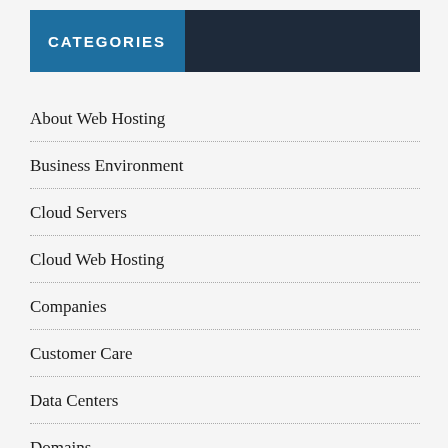CATEGORIES
About Web Hosting
Business Environment
Cloud Servers
Cloud Web Hosting
Companies
Customer Care
Data Centers
Domains